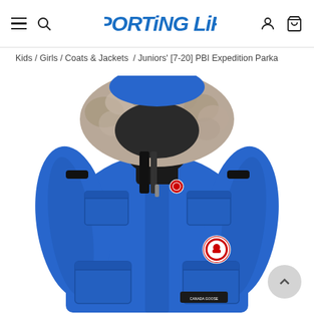Sporting Life — navigation header with hamburger menu, search icon, logo, user icon, cart icon
Kids / Girls / Coats & Jackets  / Juniors' [7-20] PBI Expedition Parka
[Figure (photo): Product photo of a blue Canada Goose Juniors' PBI Expedition Parka with fur-trimmed hood, chest pockets, and Canada Goose logo patch on the left sleeve.]